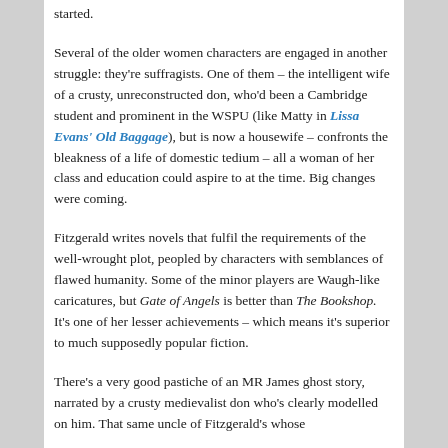started.
Several of the older women characters are engaged in another struggle: they're suffragists. One of them – the intelligent wife of a crusty, unreconstructed don, who'd been a Cambridge student and prominent in the WSPU (like Matty in Lissa Evans' Old Baggage), but is now a housewife – confronts the bleakness of a life of domestic tedium – all a woman of her class and education could aspire to at the time. Big changes were coming.
Fitzgerald writes novels that fulfil the requirements of the well-wrought plot, peopled by characters with semblances of flawed humanity. Some of the minor players are Waugh-like caricatures, but Gate of Angels is better than The Bookshop. It's one of her lesser achievements – which means it's superior to much supposedly popular fiction.
There's a very good pastiche of an MR James ghost story, narrated by a crusty medievalist don who's clearly modelled on him. That same uncle of Fitzgerald's whose